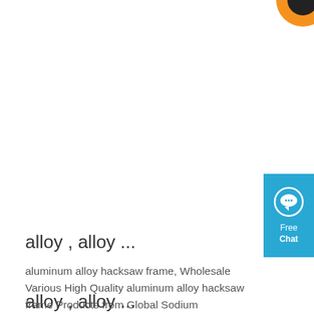[Figure (logo): Partial orange and black circular logo visible at top-right corner]
[Figure (other): Blue Free Chat widget button on the right side with chat bubble icon and text 'Free Chat']
alloy , alloy ...
aluminum alloy hacksaw frame, Wholesale Various High Quality aluminum alloy hacksaw frame Products from Global Sodium Tripolyphosphate Suppliers and aluminum alloy hacksaw frame Factory,Importer,Exporter at .
Get Price